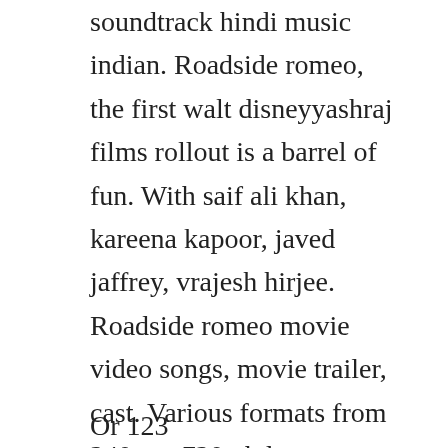soundtrack hindi music indian. Roadside romeo, the first walt disneyyashraj films rollout is a barrel of fun. With saif ali khan, kareena kapoor, javed jaffrey, vrajesh hirjee. Roadside romeo movie video songs, movie trailer, cast. Various formats from 240p to 720p hd or even 1080p. See more ideas about romeo and juliet, cartoon and romeo and juliet anime. Coolmoviez download bollywood,hollywood,dubbed hollywood. Disney releases bollywood animation roadside romeo.
Or 123 reviews, all of the above just in a...